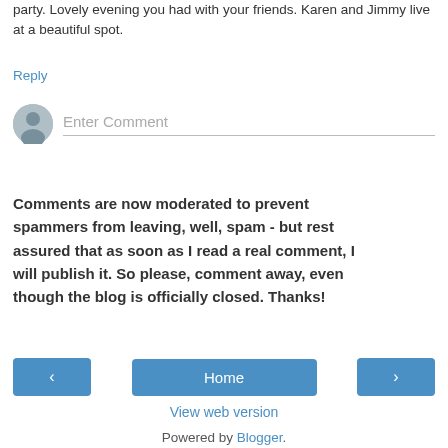party. Lovely evening you had with your friends. Karen and Jimmy live at a beautiful spot.
Reply
[Figure (other): User avatar placeholder circle with a person silhouette icon, and an 'Enter Comment' input field with a bottom border]
Comments are now moderated to prevent spammers from leaving, well, spam - but rest assured that as soon as I read a real comment, I will publish it. So please, comment away, even though the blog is officially closed. Thanks!
< Home >
View web version
Powered by Blogger.